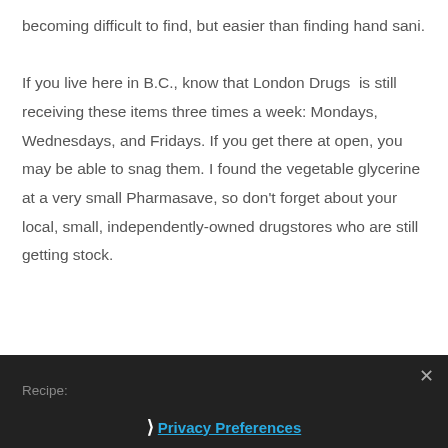becoming difficult to find, but easier than finding hand sani.

If you live here in B.C., know that London Drugs is still receiving these items three times a week: Mondays, Wednesdays, and Fridays. If you get there at open, you may be able to snag them. I found the vegetable glycerine at a very small Pharmasave, so don't forget about your local, small, independently-owned drugstores who are still getting stock.
Recipe: